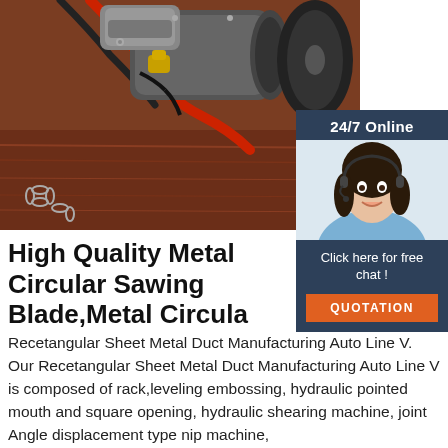[Figure (photo): Close-up photo of a metal circular sawing machine with motor, hydraulic hoses (red and black), and a chain on a metal surface. A customer service woman wearing a headset is shown in a chat widget overlay on the right side.]
High Quality Metal Circular Sawing Blade,Metal Circular
Recetangular Sheet Metal Duct Manufacturing Auto Line V. Our Recetangular Sheet Metal Duct Manufacturing Auto Line V is composed of rack,leveling embossing, hydraulic pointed mouth and square opening, hydraulic shearing machine, joint Angle displacement type nip machine,